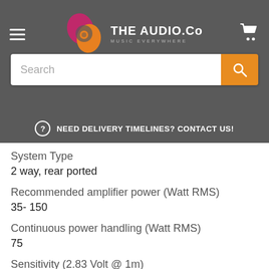THE AUDIO.Co — MUSIC EVERYWHERE
Search
NEED DELIVERY TIMELINES? CONTACT US!
System Type
2 way, rear ported
Recommended amplifier power (Watt RMS)
35- 150
Continuous power handling (Watt RMS)
75
Sensitivity (2.83 Volt @ 1m)
91dB
Nominal impedance